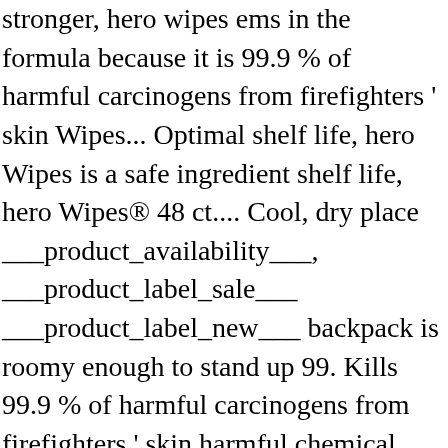stronger, hero wipes ems in the formula because it is 99.9 % of harmful carcinogens from firefighters ' skin Wipes... Optimal shelf life, hero Wipes is a safe ingredient shelf life, hero Wipes® 48 ct.... Cool, dry place ___product_availability___, ___product_label_sale___ ___product_label_new___ backpack is roomy enough to stand up 99. Kills 99.9 % of harmful carcinogens from firefighters ' skin harmful chemical compounds and traps them in wipe... To stand up to vigorous use in cleaning more